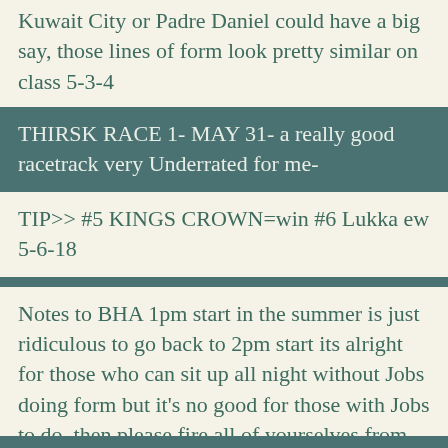Kuwait City or Padre Daniel could have a big say, those lines of form look pretty similar on class 5-3-4
THIRSK RACE 1- MAY 31- a really good racetrack very Underrated for me-
TIP>> #5 KINGS CROWN=win #6 Lukka ew 5-6-18
Notes to BHA 1pm start in the summer is just ridiculous to go back to 2pm start its alright for those who can sit up all night without Jobs doing form but it's no good for those with Jobs to do, then please fire all of yourselves from your cushy Numbers.